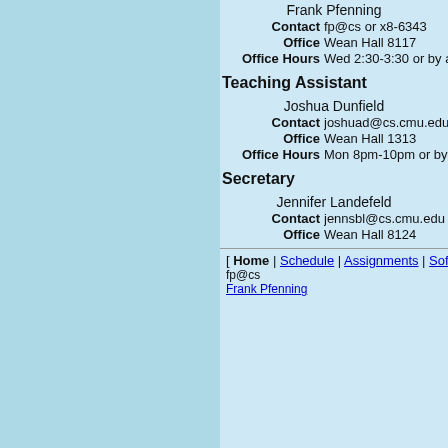Frank Pfenning
Contact fp@cs or x8-6343
Office Wean Hall 8117
Office Hours Wed 2:30-3:30 or by appointment
Teaching Assistant
Joshua Dunfield
Contact joshuad@cs.cmu.edu or x8-5...
Office Wean Hall 1313
Office Hours Mon 8pm-10pm or by appointment
Secretary
Jennifer Landefeld
Contact jennsbl@cs.cmu.edu or x8-47...
Office Wean Hall 8124
[ Home | Schedule | Assignments | Software | Res...
fp@cs
Frank Pfenning